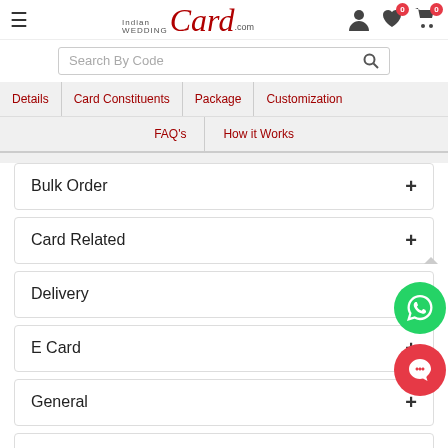[Figure (screenshot): IndianWeddingCard.com website header with hamburger menu, logo, user/wishlist/cart icons]
[Figure (screenshot): Search bar with 'Search By Code' placeholder and search icon]
Details | Card Constituents | Package | Customization | FAQ's | How it Works
Bulk Order +
Card Related +
Delivery +
E Card +
General +
Low Quantity order +